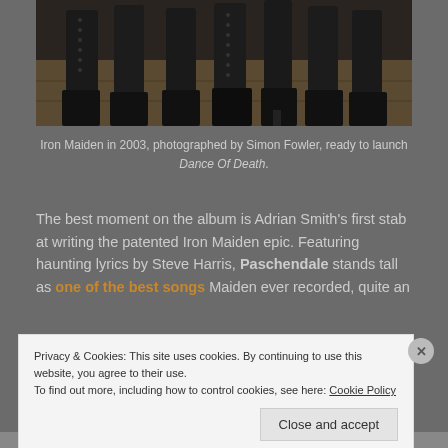[Figure (photo): Photo of Iron Maiden band members' lower bodies showing black boots and legs standing on a stone/wood floor]
Iron Maiden in 2003, photographed by Simon Fowler, ready to launch Dance Of Death.
The best moment on the album is Adrian Smith's first stab at writing the patented Iron Maiden epic. Featuring haunting lyrics by Steve Harris, Paschendale stands tall as one of the best songs Maiden ever recorded, quite an
Privacy & Cookies: This site uses cookies. By continuing to use this website, you agree to their use.
To find out more, including how to control cookies, see here: Cookie Policy
Close and accept